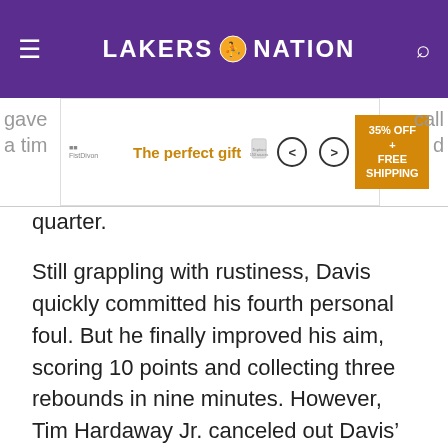LAKERS NATION
[Figure (other): Advertisement banner: The perfect gift - 35% OFF + FREE SHIPPING]
quarter.
Still grappling with rustiness, Davis quickly committed his fourth personal foul. But he finally improved his aim, scoring 10 points and collecting three rebounds in nine minutes. However, Tim Hardaway Jr. canceled out Davis’ effort, tying the game again with less than two minutes left in the third after getting hot from beyond the arc.
The Lakers wasted a chance to take a two-point lead going into the fourth, as Westbrook traveled